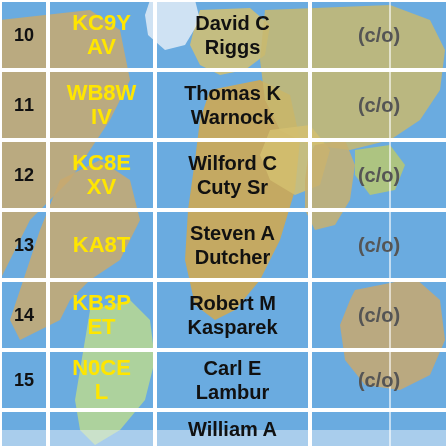| # | Callsign | Name | (c/o) |
| --- | --- | --- | --- |
| 10 | KC9YAV | David C Riggs | (c/o) |
| 11 | WB8WIV | Thomas K Warnock | (c/o) |
| 12 | KC8EXV | Wilford C Cuty Sr | (c/o) |
| 13 | KA8T | Steven A Dutcher | (c/o) |
| 14 | KB3PET | Robert M Kasparek | (c/o) |
| 15 | N0CEL | Carl E Lambur | (c/o) |
|  |  | William A |  |